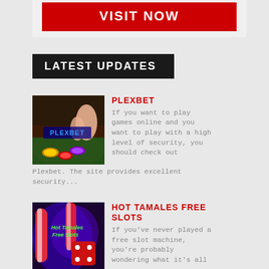[Figure (other): Red VISIT NOW button banner at top]
LATEST UPDATES
[Figure (photo): Casino chips and hands with PLEXBET overlay text]
PLEXBET
If you want to play games online and you want to play with a high level of security, you should check out Plexbet. The site provides excellent security...
[Figure (photo): Hot Tamales Free Slots colorful slot machine image with green text overlay]
HOT TAMALES FREE SLOTS
If you've never played a free slot machine, you're probably wondering what it's all about. You'll find out about the Blackout...
[Figure (photo): Partial third article thumbnail image]
PLAYING LIVE